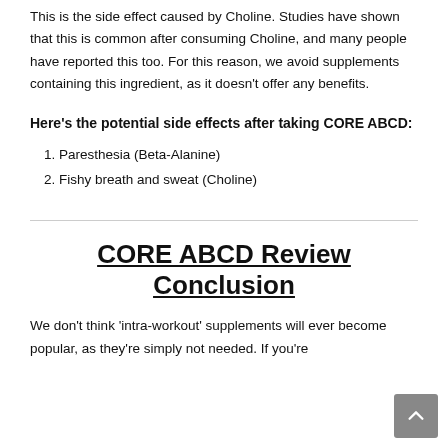This is the side effect caused by Choline. Studies have shown that this is common after consuming Choline, and many people have reported this too. For this reason, we avoid supplements containing this ingredient, as it doesn't offer any benefits.
Here's the potential side effects after taking CORE ABCD:
1. Paresthesia (Beta-Alanine)
2. Fishy breath and sweat (Choline)
CORE ABCD Review Conclusion
We don't think 'intra-workout' supplements will ever become popular, as they're simply not needed. If you're